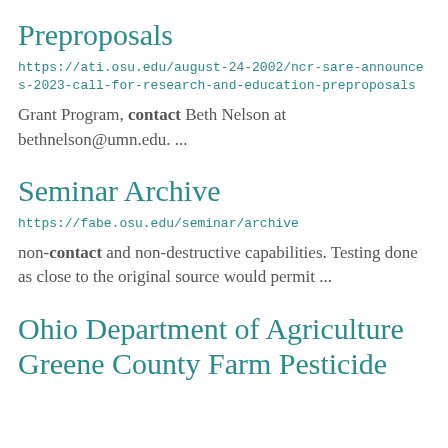Preproposals
https://ati.osu.edu/august-24-2002/ncr-sare-announces-2023-call-for-research-and-education-preproposals
Grant Program, contact Beth Nelson at bethnelson@umn.edu. ...
Seminar Archive
https://fabe.osu.edu/seminar/archive
non-contact and non-destructive capabilities. Testing done as close to the original source would permit ...
Ohio Department of Agriculture Greene County Farm Pesticide